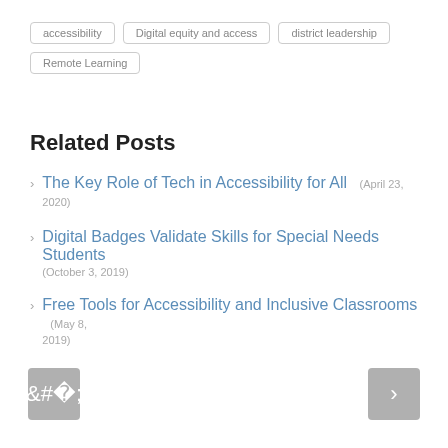accessibility
Digital equity and access
district leadership
Remote Learning
Related Posts
The Key Role of Tech in Accessibility for All (April 23, 2020)
Digital Badges Validate Skills for Special Needs Students (October 3, 2019)
Free Tools for Accessibility and Inclusive Classrooms (May 8, 2019)